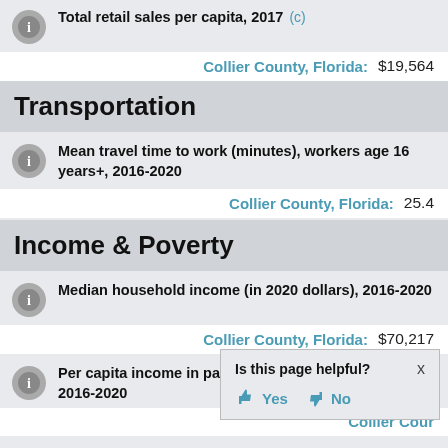Total retail sales per capita, 2017 (c) — Collier County, Florida: $19,564
Transportation
Mean travel time to work (minutes), workers age 16 years+, 2016-2020 — Collier County, Florida: 25.4
Income & Poverty
Median household income (in 2020 dollars), 2016-2020 — Collier County, Florida: $70,217
Per capita income in past 12 months (in 2020 dollars), 2016-2020 — Collier County, Florida: [partially obscured]
Is this page helpful? Yes / No